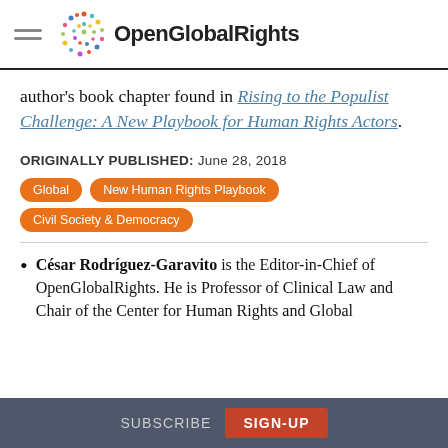OpenGlobalRights
author's book chapter found in Rising to the Populist Challenge: A New Playbook for Human Rights Actors.
ORIGINALLY PUBLISHED: June 28, 2018
Global
New Human Rights Playbook
Civil Society & Democracy
César Rodríguez-Garavito is the Editor-in-Chief of OpenGlobalRights. He is Professor of Clinical Law and Chair of the Center for Human Rights and Global